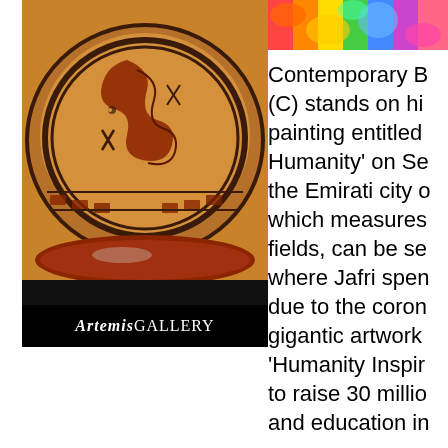[Figure (photo): Close-up of an ancient ceramic/pottery bowl with decorative painted patterns in orange, red, and dark brown, showing geometric and figurative designs. The Artemis Gallery logo appears at the bottom of the image.]
[Figure (photo): Partial view of a colorful, vibrant textile or painting with bright multicolored patterns in the top-right corner.]
Contemporary B (C) stands on hi painting entitled Humanity' on Se the Emirati city o which measures fields, can be se where Jafri spen due to the coron gigantic artwork 'Humanity Inspin to raise 30 millio and education in